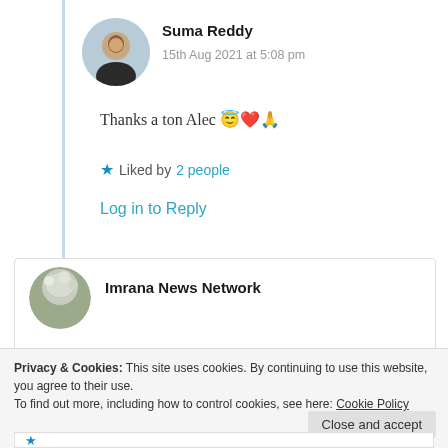Suma Reddy
15th Aug 2021 at 5:08 pm
Thanks a ton Alec 😇❤️🙏
★ Liked by 2 people
Log in to Reply
Imrana News Network
Privacy & Cookies: This site uses cookies. By continuing to use this website, you agree to their use.
To find out more, including how to control cookies, see here: Cookie Policy
Close and accept